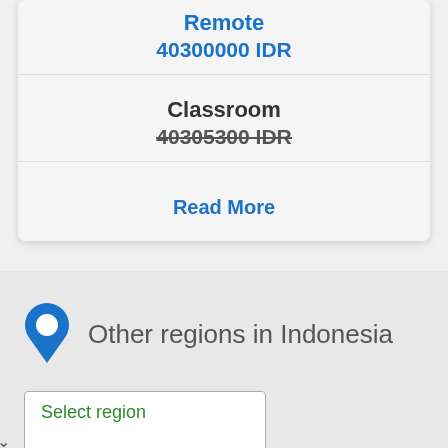Remote
40300000 IDR
Classroom
40305300 IDR
Read More
Other regions in Indonesia
Select region